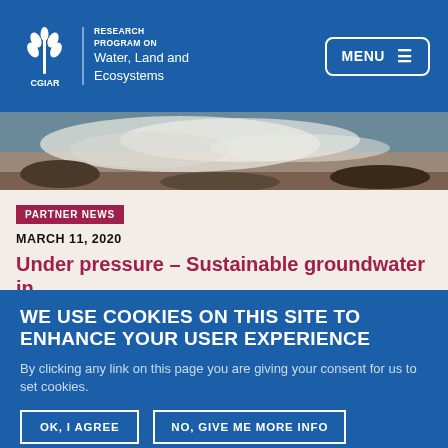CGIAR Research Program on Water, Land and Ecosystems | MENU
[Figure (photo): Close-up photo of turbulent water/steam, mist over rocks — water scene]
PARTNER NEWS
MARCH 11, 2020
Under pressure – Sustainable groundwater in
WE USE COOKIES ON THIS SITE TO ENHANCE YOUR USER EXPERIENCE
By clicking any link on this page you are giving your consent for us to set cookies.
OK, I AGREE
NO, GIVE ME MORE INFO